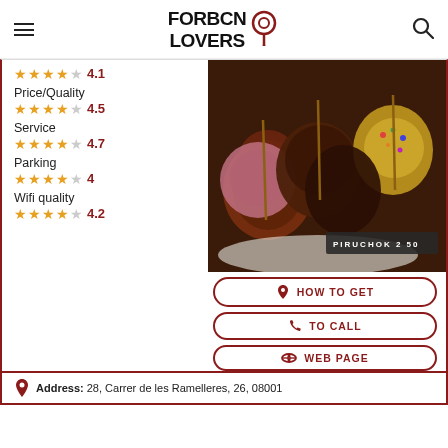FORBCN LOVERS
Price/Quality 4.5
Service 4.7
Parking 4
Wifi quality 4.2
[Figure (photo): Chocolate-covered candy apples on sticks on a plate, with a label reading PIRUCHOK 2 50]
HOW TO GET
TO CALL
WEB PAGE
Address: 28, Carrer de les Ramelleres, 26, 08001